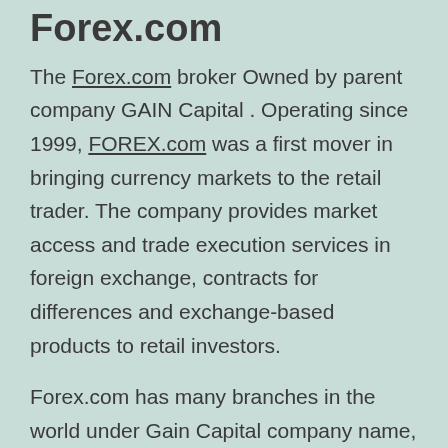Forex.com
The Forex.com broker Owned by parent company GAIN Capital . Operating since 1999, FOREX.com was a first mover in bringing currency markets to the retail trader. The company provides market access and trade execution services in foreign exchange, contracts for differences and exchange-based products to retail investors.
Forex.com has many branches in the world under Gain Capital company name, Forex.com is one of the top 10 Forex trading platforms in USA and also in the list of Top 10 Forex trading